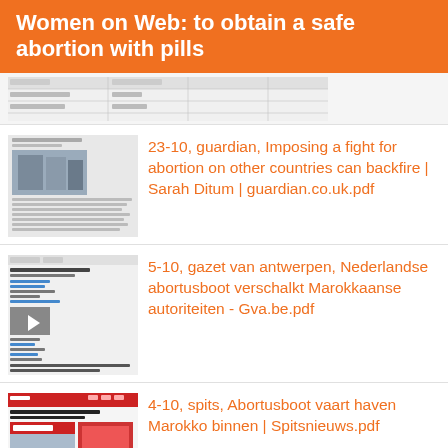Women on Web: to obtain a safe abortion with pills
[Figure (screenshot): Small thumbnail of a document table/spreadsheet at the top of the page]
[Figure (screenshot): Thumbnail screenshot of a Guardian article with protest photo]
23-10, guardian, Imposing a fight for abortion on other countries can backfire | Sarah Ditum | guardian.co.uk.pdf
[Figure (screenshot): Thumbnail screenshot of a Gazet van Antwerpen webpage]
5-10, gazet van antwerpen, Nederlandse abortusboot verschalkt Marokkaanse autoriteiten - Gva.be.pdf
[Figure (screenshot): Thumbnail screenshot of a Spitsnieuws webpage with red and white design]
4-10, spits, Abortusboot vaart haven Marokko binnen | Spitsnieuws.pdf